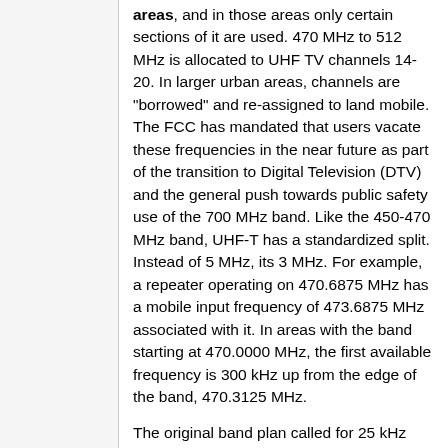areas, and in those areas only certain sections of it are used. 470 MHz to 512 MHz is allocated to UHF TV channels 14-20. In larger urban areas, channels are "borrowed" and re-assigned to land mobile. The FCC has mandated that users vacate these frequencies in the near future as part of the transition to Digital Television (DTV) and the general push towards public safety use of the 700 MHz band. Like the 450-470 MHz band, UHF-T has a standardized split. Instead of 5 MHz, its 3 MHz. For example, a repeater operating on 470.6875 MHz has a mobile input frequency of 473.6875 MHz associated with it. In areas with the band starting at 470.0000 MHz, the first available frequency is 300 kHz up from the edge of the band, 470.3125 MHz.
The original band plan called for 25 kHz steps with 12.5 kHz offset channels. As of 2020, the 470-512 MHz band does not require use of 12.5 kHz channels narrow band modulation (NFM, DMR, NXDN, P25, etc) emissions. However, many cities where the UHF-T band is